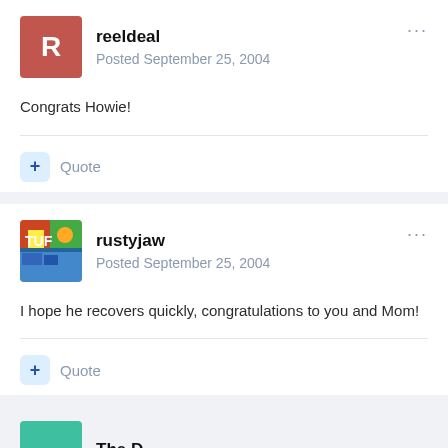reeldeal
Posted September 25, 2004
Congrats Howie!
+ Quote
rustyjaw
Posted September 25, 2004
I hope he recovers quickly, congratulations to you and Mom!
+ Quote
The D...